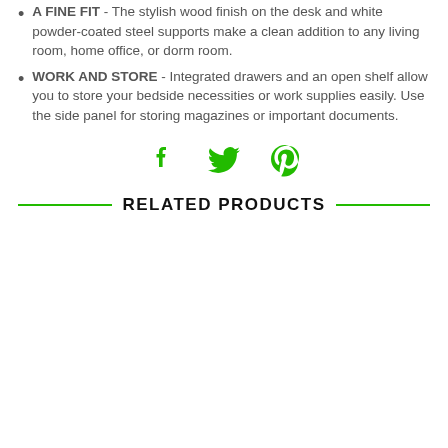A FINE FIT - The stylish wood finish on the desk and white powder-coated steel supports make a clean addition to any living room, home office, or dorm room.
WORK AND STORE - Integrated drawers and an open shelf allow you to store your bedside necessities or work supplies easily. Use the side panel for storing magazines or important documents.
[Figure (infographic): Social sharing icons: Facebook, Twitter, Pinterest — all in green]
RELATED PRODUCTS